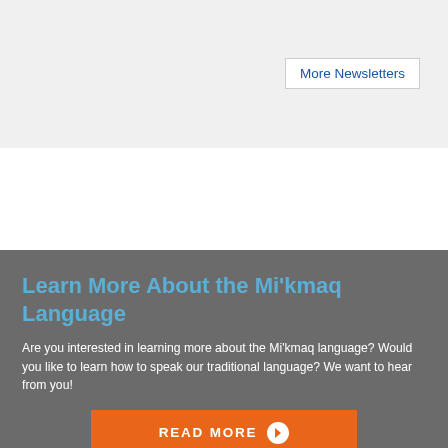More Newsletters
Learn More About the Mi'kmaq Language
Are you interested in learning more about the Mi'kmaq language? Would you like to learn how to speak our traditional language? We want to hear from you!
READ MORE